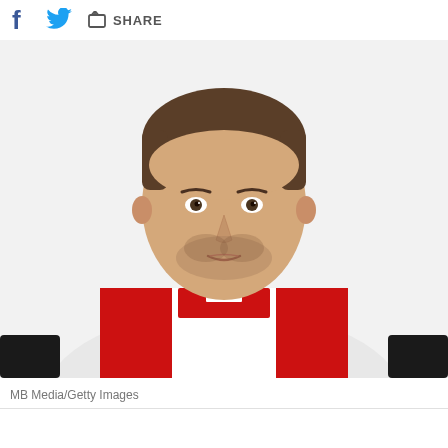[Figure (other): Social share bar with Facebook icon, Twitter bird icon, and share button with text 'SHARE']
[Figure (photo): Portrait photo of a male football/soccer player with short brown hair and stubble beard, wearing a red and white striped jersey with a red collar, against a white background. Player looks directly at camera with a neutral expression.]
MB Media/Getty Images